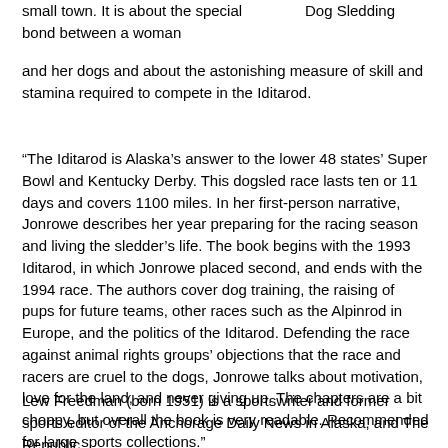small town. It is about the special bond between a woman and her dogs and about the astonishing measure of skill and stamina required to compete in the Iditarod.
Dog Sledding
“The Iditarod is Alaska’s answer to the lower 48 states’ Super Bowl and Kentucky Derby. This dogsled race lasts ten or 11 days and covers 1100 miles. In her first-person narrative, Jonrowe describes her year preparing for the racing season and living the sledder’s life. The book begins with the 1993 Iditarod, in which Jonrowe placed second, and ends with the 1994 race. The authors cover dog training, the raising of pups for future teams, other races such as the Alpinrod in Europe, and the politics of the Iditarod. Defending the race against animal rights groups’ objections that the race and racers are cruel to the dogs, Jonrowe talks about motivation, love for the land, and never giving up. The chapters are a bit choppy, but overall the book is very readable. Recommended for large sports collections."
    –Lisa J. Cochenet, Winfield P.L., Ill.
Lew Freedman (born 1951) is a sportswriter and former sports editor of the Anchorage Daily News in Alaska, and The Republic